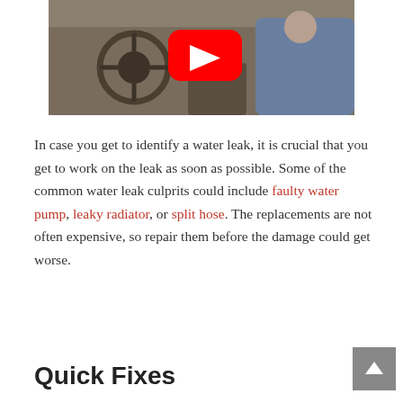[Figure (screenshot): YouTube video thumbnail showing the interior of a car (steering wheel and dashboard visible) with a YouTube play button overlay in the center.]
In case you get to identify a water leak, it is crucial that you get to work on the leak as soon as possible. Some of the common water leak culprits could include faulty water pump, leaky radiator, or split hose. The replacements are not often expensive, so repair them before the damage could get worse.
Quick Fixes